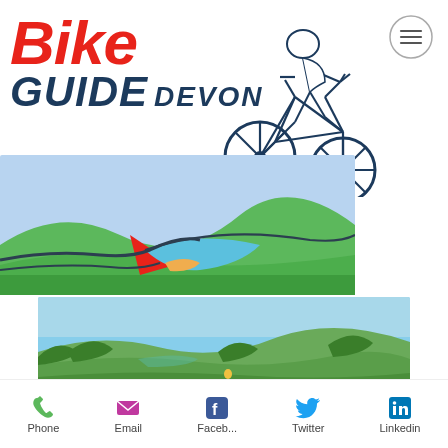[Figure (logo): Bike Guide Devon logo with red italic 'Bike' text, dark blue 'GUIDE DEVON' text, and a line-art cyclist on a mountain bike performing a jump, plus a colourful landscape map illustration below]
[Figure (photo): Outdoor landscape photo showing green rolling hills and valleys under a blue sky, with a cyclist visible in the foreground]
Phone
Email
Faceb...
Twitter
Linkedin